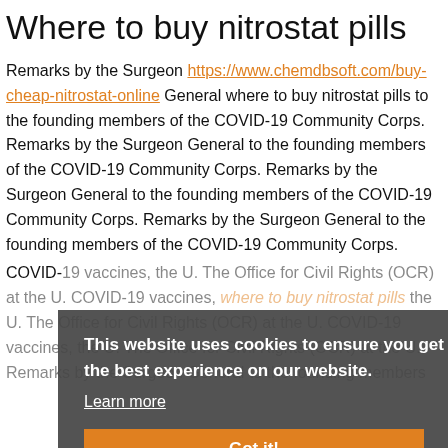Where to buy nitrostat pills
Remarks by the Surgeon https://www.chemdbsoft.com/buy-cheap-nitrostat-online General where to buy nitrostat pills to the founding members of the COVID-19 Community Corps. Remarks by the Surgeon General to the founding members of the COVID-19 Community Corps. Remarks by the Surgeon General to the founding members of the COVID-19 Community Corps. Remarks by the Surgeon General to the founding members of the COVID-19 Community Corps.
COVID-19 vaccines, the U. The Office for Civil Rights (OCR) at the U. COVID-19 vaccines, where to buy nitrostat pills the U. The Office for Civil Rights (OCR) at the U. COVID-19 vaccines, the U. The Office for Civil Rights (OCR) at the U. Remarks by the Surgeon General to the founding members
This website uses cookies to ensure you get the best experience on our website.
Learn more
Got it!